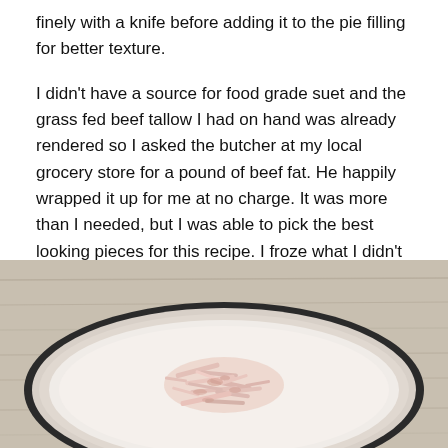finely with a knife before adding it to the pie filling for better texture.
I didn't have a source for food grade suet and the grass fed beef tallow I had on hand was already rendered so I asked the butcher at my local grocery store for a pound of beef fat. He happily wrapped it up for me at no charge. It was more than I needed, but I was able to pick the best looking pieces for this recipe. I froze what I didn't use for later. I partially froze the choice pieces of fat for 30 minutes in the freezer and then ran it through the grating disc on my food processor. It worked really well.
[Figure (photo): A white plate with a dark rim on a light wood surface, containing grated or shredded raw beef fat/suet.]